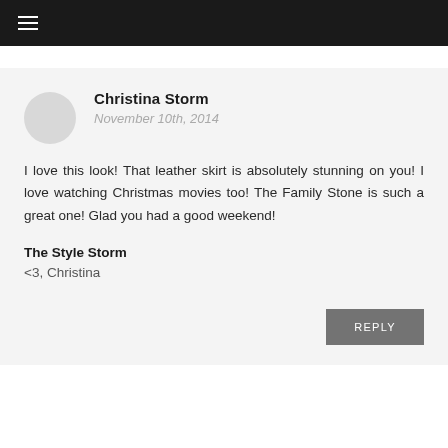≡
Christina Storm
November 10th, 2014
I love this look! That leather skirt is absolutely stunning on you! I love watching Christmas movies too! The Family Stone is such a great one! Glad you had a good weekend!
The Style Storm
<3, Christina